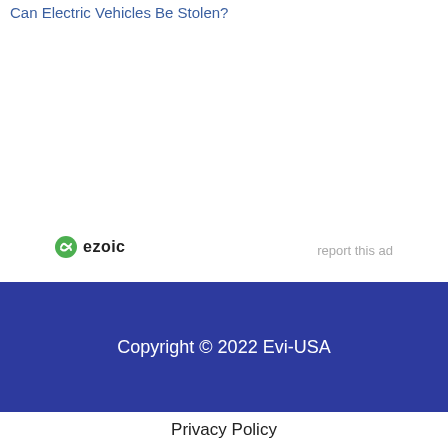Can Electric Vehicles Be Stolen?
[Figure (logo): Ezoic logo with green circular icon and 'ezoic' text, alongside 'report this ad' link]
Copyright © 2022 Evi-USA
Privacy Policy